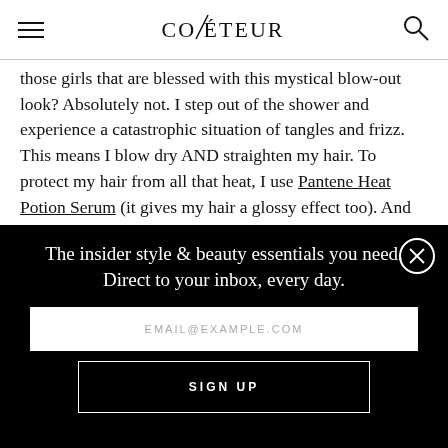COVETEUR
those girls that are blessed with this mystical blow-out look? Absolutely not. I step out of the shower and experience a catastrophic situation of tangles and frizz. This means I blow dry AND straighten my hair. To protect my hair from all that heat, I use Pantene Heat Potion Serum (it gives my hair a glossy effect too). And
The insider style & beauty essentials you need. Direct to your inbox, every day.
EMAIL@EXAMPLE.COM
SIGN UP